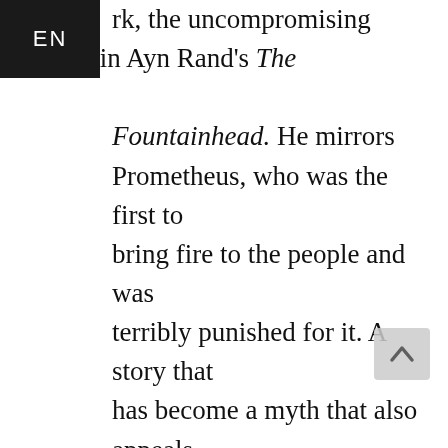rk, the uncompromising architect in Ayn Rand's The Fountainhead. He mirrors Prometheus, who was the first to bring fire to the people and was terribly punished for it. A story that has become a myth that also appeals to the imagination after thousands of years.

Stories like this give us an identity as an individual, as an individual in a society and as a society. In order to understand our existence and give it meaning, we need them. Even